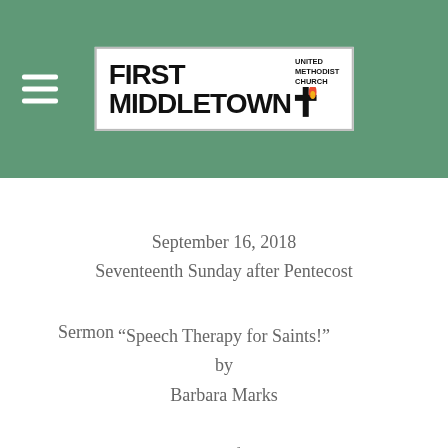[Figure (logo): First United Methodist Church Middletown logo with cross icon, displayed in a white box on green header bar]
September 16, 2018
Seventeenth Sunday after Pentecost
Sermon
"Speech Therapy for Saints!"
by
Barbara Marks
Please join us for worship
Sunday at 10:00 a.m.